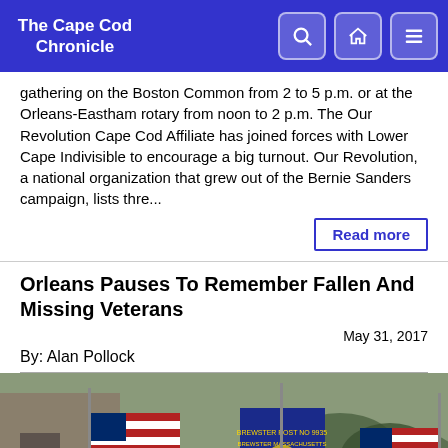The Cape Cod Chronicle
gathering on the Boston Common from 2 to 5 p.m. or at the Orleans-Eastham rotary from noon to 2 p.m. The Our Revolution Cape Cod Affiliate has joined forces with Lower Cape Indivisible to encourage a big turnout. Our Revolution, a national organization that grew out of the Bernie Sanders campaign, lists thre...
Read more
Orleans Pauses To Remember Fallen And Missing Veterans
May 31, 2017
By: Alan Pollock
[Figure (photo): Parade scene with people carrying American flags and a Veterans of Foreign Wars banner, Brewster Post, Brewster Massachusetts, outdoors with trees and vehicles in background]